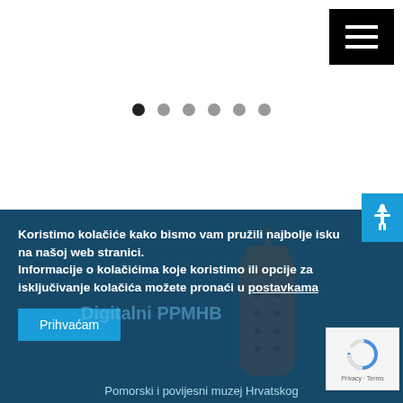[Figure (screenshot): Black hamburger menu button (three horizontal white lines on black background) in top-right corner of a museum website]
[Figure (screenshot): Pagination dots navigation: one filled dark dot and five grey dots indicating a slideshow/carousel position]
Arhiva
[Figure (screenshot): Blue section with museum artifact photo (brown decorative object). Cookie consent banner overlay in dark semi-transparent blue reading: Koristimo kolačiće kako bismo vam pružili najbolje isku na našoj web stranici. Informacije o kolačićima koje koristimo ili opcije za isključivanje kolačića možete pronaći u postavkama. Prihvaćam button. reCAPTCHA badge. Accessibility icon. Bottom label: Pomorski i povijesni muzej Hrvatskog]
Koristimo kolačiće kako bismo vam pružili najbolje isku na našoj web stranici.
Informacije o kolačićima koje koristimo ili opcije za isključivanje kolačića možete pronaći u postavkama
Prihvaćam
Pomorski i povijesni muzej Hrvatskog